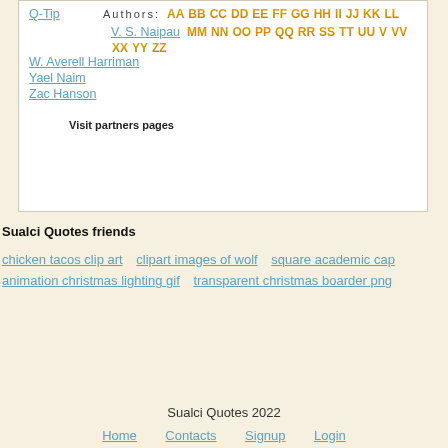Q-Tip
Authors: AA BB CC DD EE FF GG HH II JJ KK LL MM NN OO PP QQ RR SS TT UU V VV XX YY ZZ
V. S. Naipaul
W. Averell Harriman
Yael Naim
Zac Hanson
Visit partners pages
Sualci Quotes friends
chicken tacos clip art   clipart images of wolf   square academic cap   animation christmas lighting gif   transparent christmas boarder png
Sualci Quotes 2022
Home   Contacts   Signup   Login